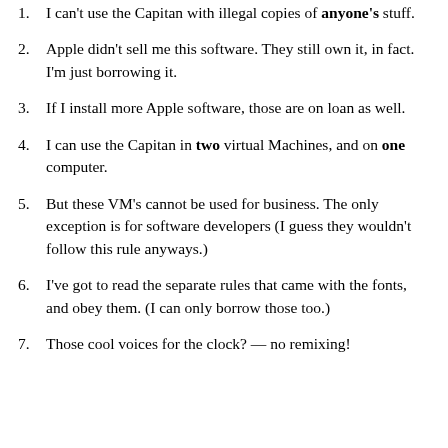I can't use the Capitan with illegal copies of anyone's stuff.
Apple didn't sell me this software. They still own it, in fact. I'm just borrowing it.
If I install more Apple software, those are on loan as well.
I can use the Capitan in two virtual Machines, and on one computer.
But these VM's cannot be used for business. The only exception is for software developers (I guess they wouldn't follow this rule anyways.)
I've got to read the separate rules that came with the fonts, and obey them. (I can only borrow those too.)
Those cool voices for the clock? — no remixing!